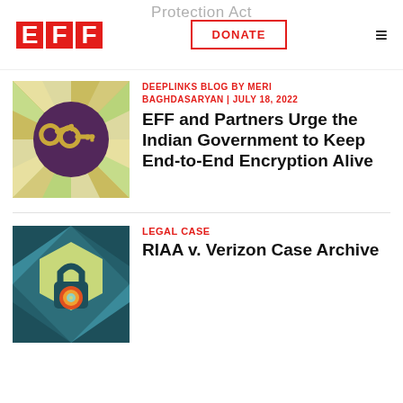EFF | DONATE | ☰
[Figure (illustration): EFF logo with three red block letters E, F, F]
[Figure (illustration): Thumbnail image showing crossed golden keys on a purple circle with colorful radial background]
DEEPLINKS BLOG BY MERI BAGHDASARYAN | JULY 18, 2022
EFF and Partners Urge the Indian Government to Keep End-to-End Encryption Alive
[Figure (illustration): Thumbnail image showing a padlock icon on a teal geometric hexagon background with colorful concentric circles]
LEGAL CASE
RIAA v. Verizon Case Archive